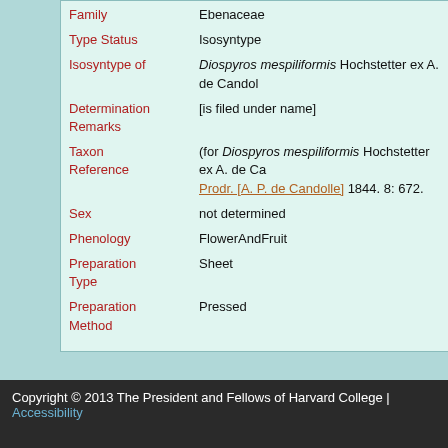| Field | Value |
| --- | --- |
| Family | Ebenaceae |
| Type Status | Isosyntype |
| Isosyntype of | Diospyros mespiliformis Hochstetter ex A. de Candol... |
| Determination Remarks | [is filed under name] |
| Taxon Reference | (for Diospyros mespiliformis Hochstetter ex A. de Ca... Prodr. [A. P. de Candolle] 1844. 8: 672. |
| Sex | not determined |
| Phenology | FlowerAndFruit |
| Preparation Type | Sheet |
| Preparation Method | Pressed |
| Remarks | Isolectotype, fide F. White & B. Verdcourt, Fl. Trop. |
Copyright © 2013 The President and Fellows of Harvard College | Accessibility